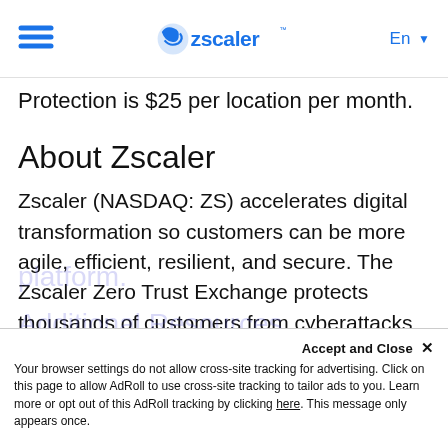Zscaler navigation bar with hamburger menu, Zscaler logo, and language selector En
Protection is $25 per location per month.
About Zscaler
Zscaler (NASDAQ: ZS) accelerates digital transformation so customers can be more agile, efficient, resilient, and secure. The Zscaler Zero Trust Exchange protects thousands of customers from cyberattacks and data loss by securely connecting users, devices, and applications in any location. Distributed across more than 150 data centers globally, the SSE-based Zero Trust Exchange is the world's largest in-line cloud security platform.
Accept and Close ×
Your browser settings do not allow cross-site tracking for advertising. Click on this page to allow AdRoll to use cross-site tracking to tailor ads to you. Learn more or opt out of this AdRoll tracking by clicking here. This message only appears once.